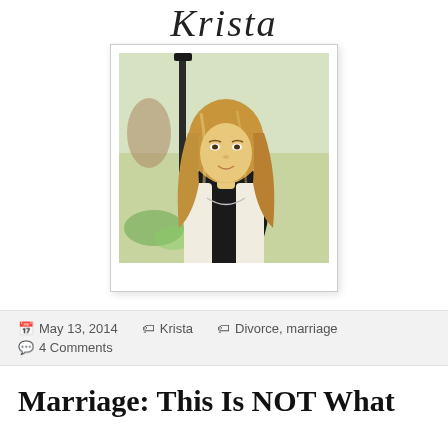Krista
[Figure (photo): Portrait photo of a young woman with long wavy blonde hair, wearing a dark top with a necklace and a white jacket, standing outdoors with blurred background]
May 13, 2014   Krista   Divorce, marriage
4 Comments
Marriage: This Is NOT What